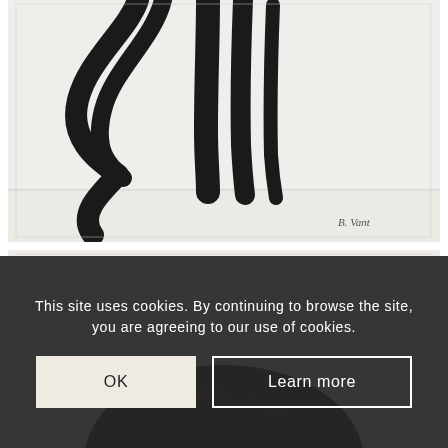[Figure (illustration): Abstract artwork showing bold black brushstroke lines resembling a figure or plant form against a light background, with a signature 'B. Vent' in the lower right corner.]
[Figure (illustration): Abstract artwork showing a large dark circular brushstroke form against a light background, partially visible at bottom of page.]
This site uses cookies. By continuing to browse the site, you are agreeing to our use of cookies.